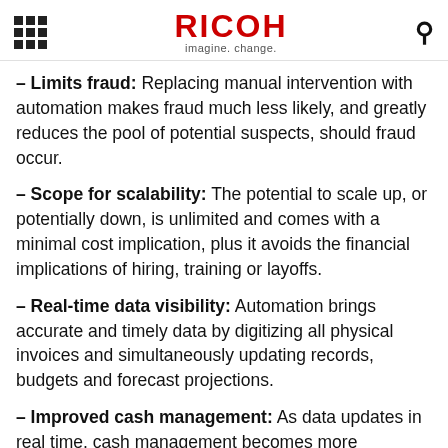RICOH imagine. change.
– Limits fraud: Replacing manual intervention with automation makes fraud much less likely, and greatly reduces the pool of potential suspects, should fraud occur.
– Scope for scalability: The potential to scale up, or potentially down, is unlimited and comes with a minimal cost implication, plus it avoids the financial implications of hiring, training or layoffs.
– Real-time data visibility: Automation brings accurate and timely data by digitizing all physical invoices and simultaneously updating records, budgets and forecast projections.
– Improved cash management: As data updates in real time, cash management becomes more accurate.